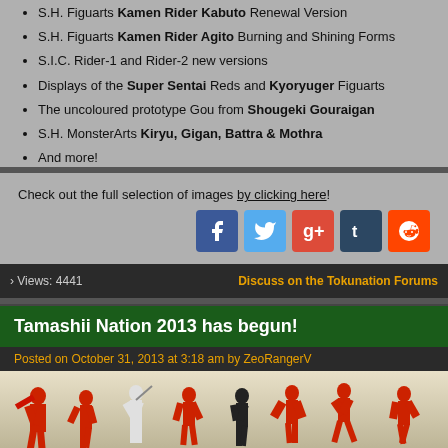S.H. Figuarts Kamen Rider Kabuto Renewal Version
S.H. Figuarts Kamen Rider Agito Burning and Shining Forms
S.I.C. Rider-1 and Rider-2 new versions
Displays of the Super Sentai Reds and Kyoryuger Figuarts
The uncoloured prototype Gou from Shougeki Gouraigan
S.H. MonsterArts Kiryu, Gigan, Battra & Mothra
And more!
Check out the full selection of images by clicking here!
› Views: 4441   Discuss on the Tokunation Forums
Tamashii Nation 2013 has begun!
Posted on October 31, 2013 at 3:18 am by ZeoRangerV
[Figure (photo): Photo of multiple red Super Sentai action figures in various action poses against a light background]
The Tamashii Nation 2013 event has started in Japan and the internet is